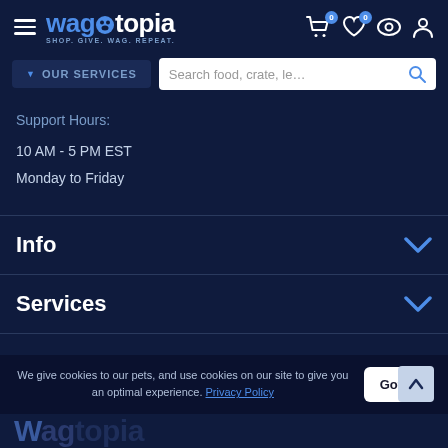wagtopia — SHOP. GIVE. WAG. REPEAT.
OUR SERVICES | Search food, crate, le...
Support Hours:
10 AM - 5 PM EST
Monday to Friday
Info
Services
We give cookies to our pets, and use cookies on our site to give you an optimal experience. Privacy Policy
Wagtopia